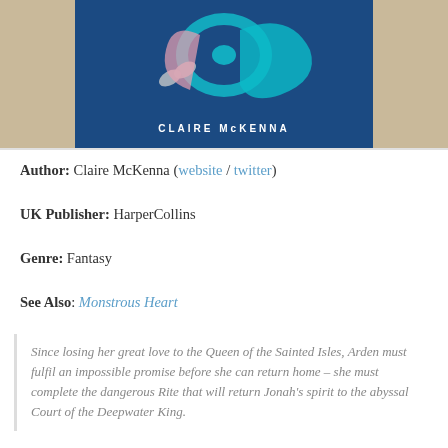[Figure (photo): Photo of a book cover by Claire McKenna placed on a wooden surface. The book cover is dark blue with teal/turquoise decorative elements. The author name CLAIRE McKENNA is visible in white letters on the cover.]
Author: Claire McKenna (website / twitter)
UK Publisher: HarperCollins
Genre: Fantasy
See Also: Monstrous Heart
Since losing her great love to the Queen of the Sainted Isles, Arden must fulfil an impossible promise before she can return home – she must complete the dangerous Rite that will return Jonah's spirit to the abyssal Court of the Deepwater King.